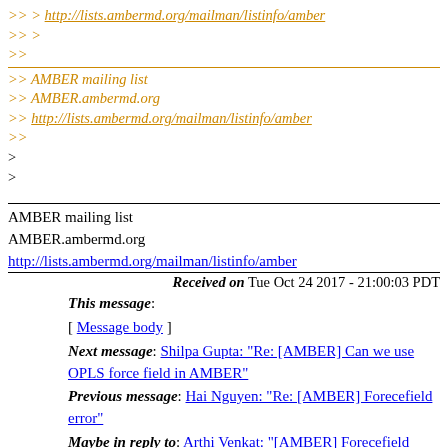>> > http://lists.ambermd.org/mailman/listinfo/amber
>> >
>>
>> AMBER mailing list
>> AMBER.ambermd.org
>> http://lists.ambermd.org/mailman/listinfo/amber
>>
>
>
AMBER mailing list
AMBER.ambermd.org
http://lists.ambermd.org/mailman/listinfo/amber
Received on Tue Oct 24 2017 - 21:00:03 PDT
This message:
[ Message body ]
Next message: Shilpa Gupta: "Re: [AMBER] Can we use OPLS force field in AMBER"
Previous message: Hai Nguyen: "Re: [AMBER] Forecefield error"
Maybe in reply to: Arthi Venkat: "[AMBER] Forecefield error"
Next in thread: Carlos Simmerling: "Re: [AMBER] Forecefield error"
Reply: Carlos Simmerling: "Re: [AMBER] Forecefield